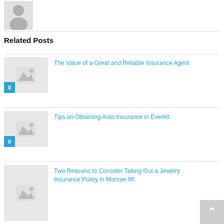[Figure (illustration): Generic grey silhouette avatar placeholder image]
Related Posts
[Figure (photo): Placeholder thumbnail image with mountains icon, badge showing 0]
The Value of a Great and Reliable Insurance Agent
[Figure (photo): Placeholder thumbnail image with mountains icon, badge showing 0]
Tips on Obtaining Auto Insurance in Everett
[Figure (photo): Placeholder thumbnail image with mountains icon]
Two Reasons to Consider Taking Out a Jewelry Insurance Policy in Monroe MI